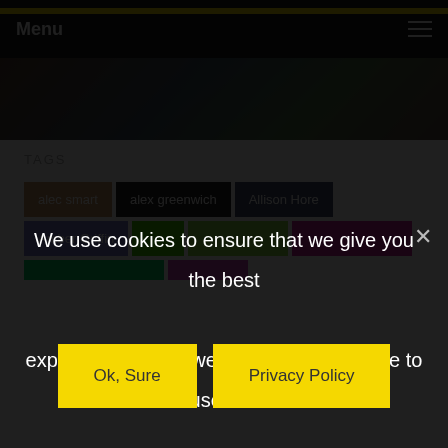Menu
[Figure (photo): Partial view of a website header image strip showing colorful artwork or photography]
TAGS
alec smart
alex greenwich
Allison Hore
Amber Griffin
We use cookies to ensure that we give you the best experience on our website. If you continue to use this site we will assume that you are happy with it.
Ok, Sure
Privacy Policy